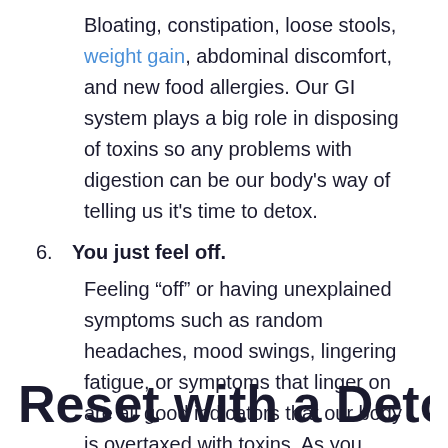Bloating, constipation, loose stools, weight gain, abdominal discomfort, and new food allergies. Our GI system plays a big role in disposing of toxins so any problems with digestion can be our body's way of telling us it's time to detox.
6. You just feel off.
Feeling “off” or having unexplained symptoms such as random headaches, mood swings, lingering fatigue, or symptoms that linger on are all good indicators that our body is overtaxed with toxins. As you guessed, a refreshing detox is in order!
Reset with a Detox at